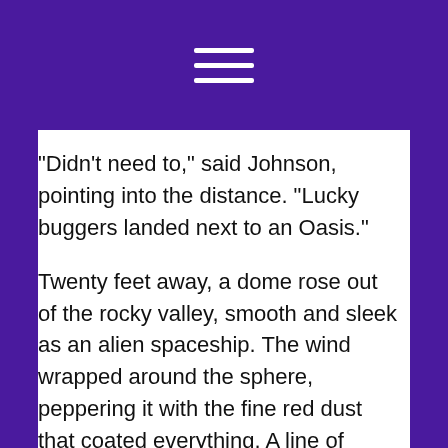[Figure (other): Three horizontal white lines (hamburger menu icon) centered on a purple background header]
“Didn’t need to,” said Johnson, pointing into the distance. “Lucky buggers landed next to an Oasis.”
Twenty feet away, a dome rose out of the rocky valley, smooth and sleek as an alien spaceship. The wind wrapped around the sphere, peppering it with the fine red dust that coated everything. A line of footprints was barely visible in the dirt, leading from the rocketship straight to the front door.
The Lieutenant whooped and broke